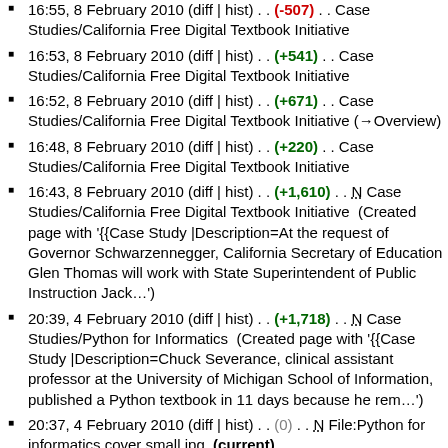16:55, 8 February 2010 (diff | hist) . . (-507) . . Case Studies/California Free Digital Textbook Initiative
16:53, 8 February 2010 (diff | hist) . . (+541) . . Case Studies/California Free Digital Textbook Initiative
16:52, 8 February 2010 (diff | hist) . . (+671) . . Case Studies/California Free Digital Textbook Initiative (→Overview)
16:48, 8 February 2010 (diff | hist) . . (+220) . . Case Studies/California Free Digital Textbook Initiative
16:43, 8 February 2010 (diff | hist) . . (+1,610) . . N Case Studies/California Free Digital Textbook Initiative (Created page with '{{Case Study |Description=At the request of Governor Schwarzennegger, California Secretary of Education Glen Thomas will work with State Superintendent of Public Instruction Jack…')
20:39, 4 February 2010 (diff | hist) . . (+1,718) . . N Case Studies/Python for Informatics (Created page with '{{Case Study |Description=Chuck Severance, clinical assistant professor at the University of Michigan School of Information, published a Python textbook in 11 days because he rem…')
20:37, 4 February 2010 (diff | hist) . . (0) . . N File:Python for informatics cover small.jpg (current)
22:25, 16 December 2009 (diff | hist) . . (+1,648) . . N University of Michigan
02:38, 15 December 2007 (diff | hist) . . (+3,450) . . N Ccplutot  (No categories: CategoryCCPlus CategoryProject {{…